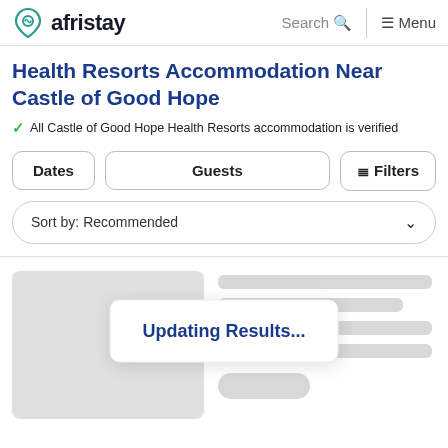afristay | Search | Menu
Health Resorts Accommodation Near Castle of Good Hope
✓ All Castle of Good Hope Health Resorts accommodation is verified
Dates | Guests | ≡ Filters
Sort by: Recommended
[Figure (screenshot): Loading skeleton cards with gray placeholder blocks for accommodation listings]
Updating Results...